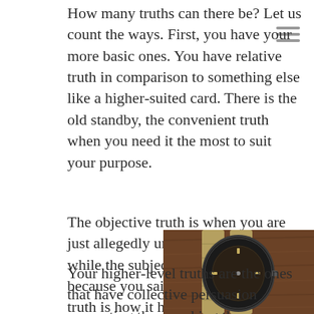How many truths can there be? Let us count the ways. First, you have your more basic ones. You have relative truth in comparison to something else like a higher-suited card. There is the old standby, the convenient truth when you need it the most to suit your purpose.
The objective truth is when you are just allegedly unbiasedly saying, while the subjective truth is generally because you said so. The historical truth is how it has always been often without even knowing why.
[Figure (photo): A close-up photo of a vintage wristwatch with a dark dial and bezel, on a tan/khaki NATO-style fabric strap, placed on a brown wooden surface.]
Your higher-level truths are the ones that have collective persuasion supporting them making them more widely acceptable and